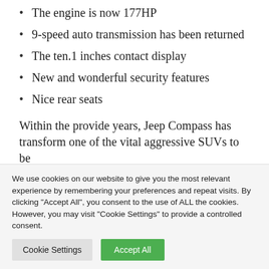The engine is now 177HP
9-speed auto transmission has been returned
The ten.1 inches contact display
New and wonderful security features
Nice rear seats
Within the provide years, Jeep Compass has transform one of the vital aggressive SUVs to be
We use cookies on our website to give you the most relevant experience by remembering your preferences and repeat visits. By clicking “Accept All”, you consent to the use of ALL the cookies. However, you may visit "Cookie Settings" to provide a controlled consent.